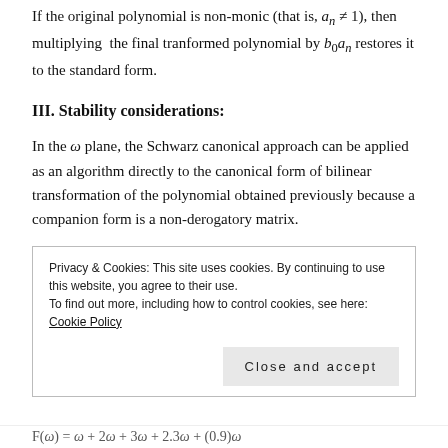If the original polynomial is non-monic (that is, a_n ≠ 1), then multiplying the final tranformed polynomial by b_0 a_n restores it to the standard form.
III. Stability considerations:
In the ω plane, the Schwarz canonical approach can be applied as an algorithm directly to the canonical form of bilinear transformation of the polynomial obtained previously because a companion form is a non-derogatory matrix.
Privacy & Cookies: This site uses cookies. By continuing to use this website, you agree to their use.
To find out more, including how to control cookies, see here: Cookie Policy
F(ω) = ω + 2ω + 3ω + 2.3ω + (0.9)ω